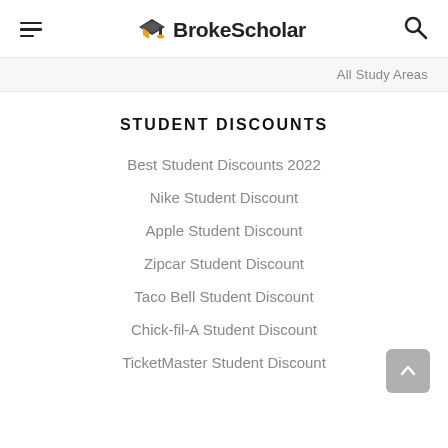BrokeScholar
All Study Areas
STUDENT DISCOUNTS
Best Student Discounts 2022
Nike Student Discount
Apple Student Discount
Zipcar Student Discount
Taco Bell Student Discount
Chick-fil-A Student Discount
TicketMaster Student Discount